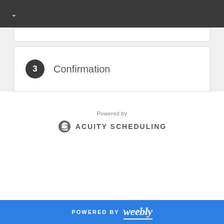3 Confirmation
[Figure (logo): Powered by Acuity Scheduling logo with swirl icon]
POWERED BY weebly